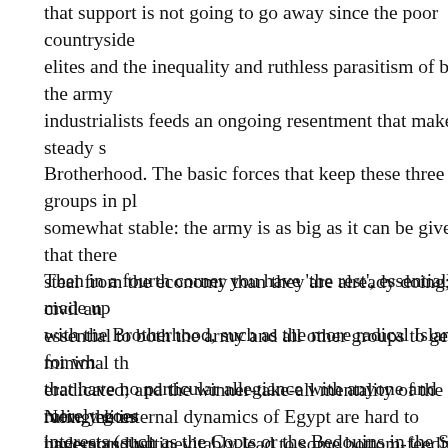that support is not going to go away since the poor countryside elites and the inequality and ruthless parasitism of both the army industrialists feeds an ongoing resentment that makes a steady s Brotherhood. The basic forces that keep these three groups in pl somewhat stable: the army is as big as it can be given that there steal from the economy than they are already doing; the civil an essential to both the army and all other groups to get minimal th eradicated; and the winner-take-all mentality of the ruling elites have-nots that inevitably lead to some bottom-feeding group tha movement, which at the moment is the Brotherhood but in prev communists of which you now only have small remnants (I cou liberals though that is not how they would see it).
Then in a fourth corner you have 'the rest', essentially made up with the Brotherhood, such as the more radical Islamists for wh that have no particular allegiance with anyone and merely goes interests (such as the Copts or the Bedouins in the Sinai).
Now, the internal dynamics of Egypt are hard to understand wit